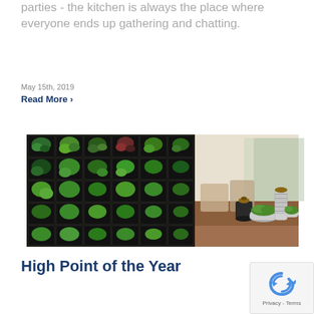parties - the kitchen is always the place where everyone ends up gathering and chatting.
May 15th, 2019
Read More >
[Figure (photo): Interior design scene showing a living wall with succulents and plants in a grid arrangement on the left, and a wooden dining table with decorative ceramic vases and moss bowls on the right.]
High Point of the Year